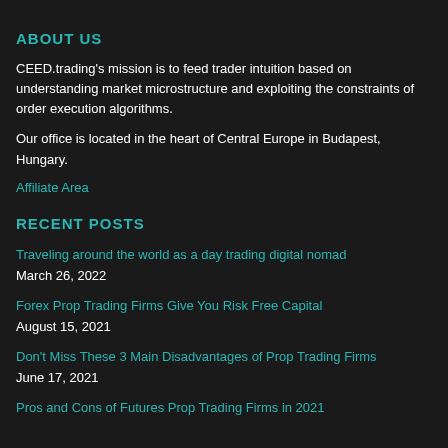ABOUT US
CEED.trading's mission is to feed trader intuition based on understanding market microstructure and exploiting the constraints of order execution algorithms.
Our office is located in the heart of Central Europe in Budapest, Hungary.
Affiliate Area
RECENT POSTS
Traveling around the world as a day trading digital nomad
March 26, 2022
Forex Prop Trading Firms Give You Risk Free Capital
August 15, 2021
Don't Miss These 3 Main Disadvantages of Prop Trading Firms
June 17, 2021
Pros and Cons of Futures Prop Trading Firms in 2021